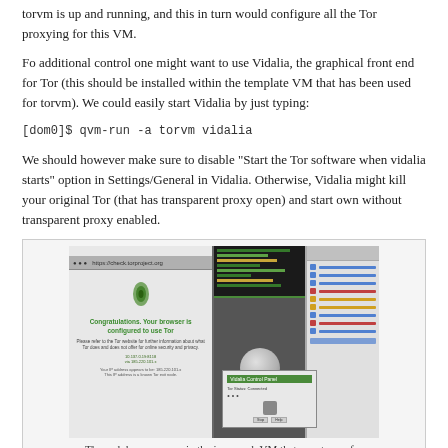torvm is up and running, and this in turn would configure all the Tor proxying for this VM.
Fo additional control one might want to use Vidalia, the graphical front end for Tor (this should be installed within the template VM that has been used for torvm). We could easily start Vidalia by just typing:
We should however make sure to disable "Start the Tor software when vidalia starts" option in Settings/General in Vidalia. Otherwise, Vidalia might kill your original Tor (that has transparent proxy open) and start own without transparent proxy enabled.
[Figure (screenshot): Screenshot showing a web browser in a VM with the Tor check page displaying 'Congratulations. Your browser is configured to use Tor', alongside a terminal window and Vidalia graphical interface.]
The web browser runs in the inner web VM that uses torvm for...